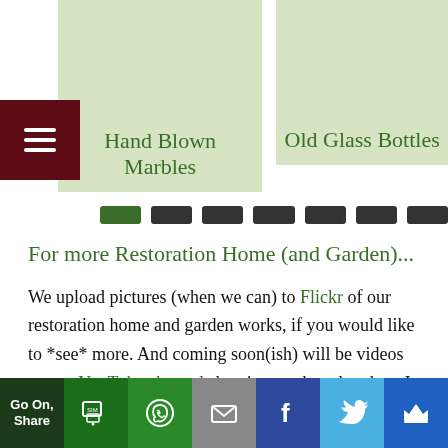[Figure (other): Card with light green background showing 'Hand Blown Marbles' text]
[Figure (other): Card with light green background showing 'Old Glass Bottles' text]
[Figure (other): Dark red hamburger menu icon on left side]
[Figure (other): Pagination dots row: first dot green, rest dark/black]
For more Restoration Home (and Garden)...
We upload pictures (when we can) to Flickr of our restoration home and garden works, if you would like to *see* more. And coming soon(ish) will be videos on our YouTube channel showing work undertaken. In the
[Figure (other): Social share bar: Go On Share, SMS, WhatsApp, Email, Facebook, Twitter, Crown buttons]